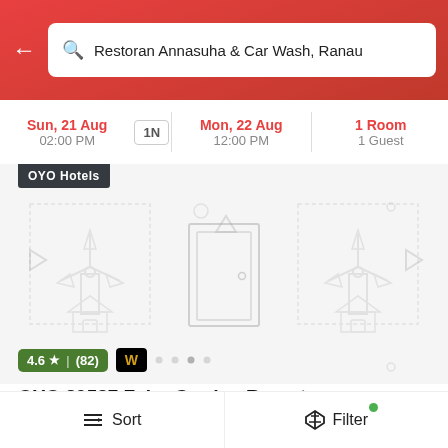Restoran Annasuha & Car Wash, Ranau
Sun, 21 Aug | 02:00 PM | 1N | Mon, 22 Aug | 12:00 PM | 1 Room | 1 Guest
[Figure (screenshot): Hotel image placeholder with windmill icons, placeholder door icon in center]
OYO Hotels
4.6 ★ | (82) | W
OYO 89537 Fairy Garden Resort
13.3 km
Near Taman Botani, Ranau
DELUXE QUEEN
RM83  RM190  56% OFF
All staff vaccinated with both doses
Sort  Filter